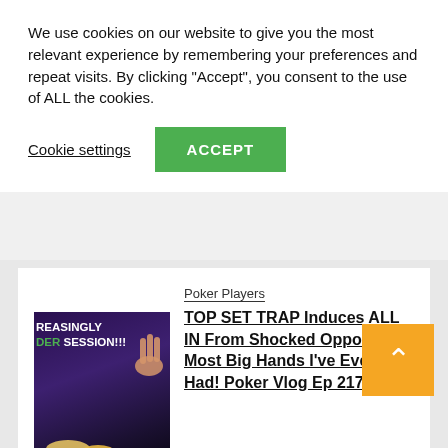We use cookies on our website to give you the most relevant experience by remembering your preferences and repeat visits. By clicking "Accept", you consent to the use of ALL the cookies.
Cookie settings   ACCEPT
Poker Players
TOP SET TRAP Induces ALL IN From Shocked Opponent!! Most Big Hands I've Ever Had! Poker Vlog Ep 217
[Figure (photo): Thumbnail image of a poker game showing poker chips on a purple table with text 'REASINGLY' and 'DER SESSION!!!' overlaid in white and green]
Poker Players